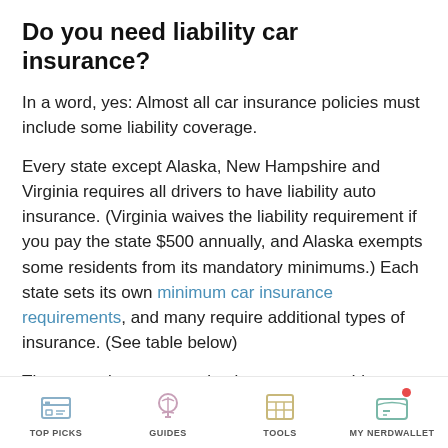Do you need liability car insurance?
In a word, yes: Almost all car insurance policies must include some liability coverage.
Every state except Alaska, New Hampshire and Virginia requires all drivers to have liability auto insurance. (Virginia waives the liability requirement if you pay the state $500 annually, and Alaska exempts some residents from its mandatory minimums.) Each state sets its own minimum car insurance requirements, and many require additional types of insurance. (See table below)
These requirements are in place to protect drivers who aren't at fault in a wreck. If you're in an accident and another driver is at fault, you should be able to
TOP PICKS   GUIDES   TOOLS   MY NERDWALLET